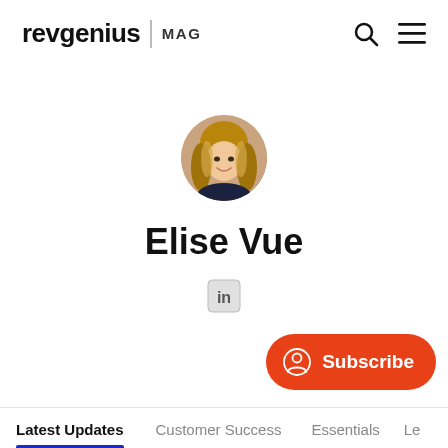revgenius | MAG
[Figure (photo): Circular profile photo of Elise Vue, a woman with wavy blonde-highlighted hair, smiling, wearing dark clothing]
Elise Vue
[Figure (logo): LinkedIn icon — gray square with 'in' logo]
[Figure (other): Orange rounded Subscribe button with user/circle icon on the left and 'Subscribe' text]
Latest Updates | Customer Success | Essentials | Le